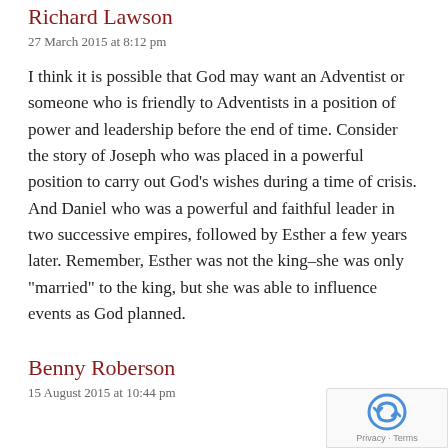Richard Lawson
27 March 2015 at 8:12 pm
I think it is possible that God may want an Adventist or someone who is friendly to Adventists in a position of power and leadership before the end of time. Consider the story of Joseph who was placed in a powerful position to carry out God’s wishes during a time of crisis. And Daniel who was a powerful and faithful leader in two successive empires, followed by Esther a few years later. Remember, Esther was not the king–she was only “married” to the king, but she was able to influence events as God planned.
Benny Roberson
15 August 2015 at 10:44 pm